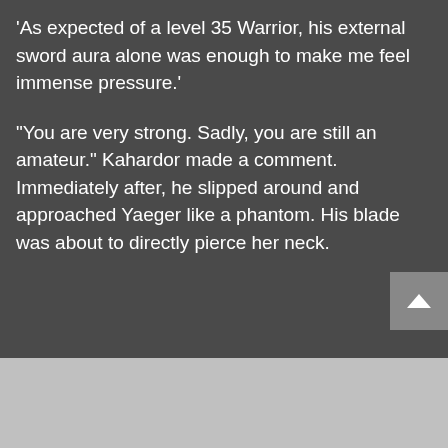'As expected of a level 35 Warrior, his external sword aura alone was enough to make me feel immense pressure.'
"You are very strong. Sadly, you are still an amateur." Kahardor made a comment.
Immediately after, he slipped around and approached Yaeger like a phantom. His blade was about to directly pierce her neck.